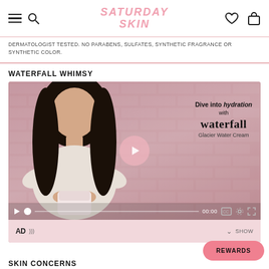SATURDAY SKIN
DERMATOLOGIST TESTED. NO PARABENS, SULFATES, SYNTHETIC FRAGRANCE OR SYNTHETIC COLOR.
WATERFALL WHIMSY
[Figure (screenshot): Video player showing a woman holding a cream jar against a pink brick wall background. Overlay text reads: Dive into hydration with waterfall Glacier Water Cream. Video controls bar with play button, progress line, time 00:00, CC, settings, and fullscreen icons. AD audio description bar at bottom.]
SKIN CONCERNS